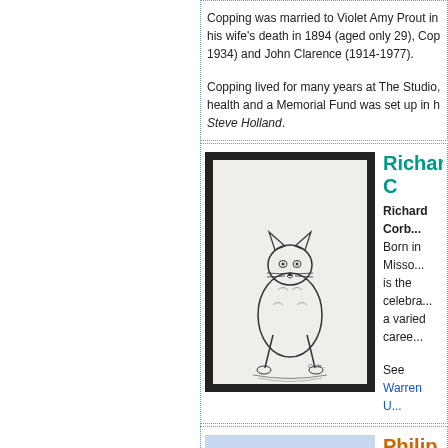Copping was married to Violet Amy Prout in... his wife's death in 1894 (aged only 29), Cop... 1934) and John Clarence (1914-1977).
Copping lived for many years at The Studio,... health and a Memorial Fund was set up in h... Steve Holland.
Richard C...
[Figure (illustration): Framed black and white illustration of a cat/cougar sitting upright, with sketchy ink style, on a light background with dark frame border.]
Richard Corb... Born in Misso... is the celebra... a varied caree...
See Warren U...
Philip Cor...
[Figure (illustration): Comic strip panels showing a colorful aircraft and figures in action scenes.]
Philip Corke... British artist w... for North Che... illustrating b...